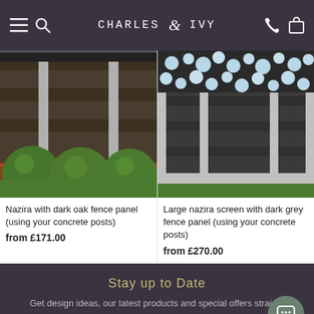CHARLES & IVY — navigation header with hamburger menu, search, phone, and cart icons
[Figure (photo): Nazira fence panel with dark oak boards and decorative top screen, with round green topiary bushes in front on a brick planter]
Nazira with dark oak fence panel (using your concrete posts)
from £171.00
[Figure (photo): Large nazira screen with pebble/bubble cut-out pattern on top, dark grey fence panels below, with concrete posts and green lawn visible]
Large nazira screen with dark grey fence panel (using your concrete posts)
from £270.00
Stay up to Date
Get design ideas, our latest products and special offers straight